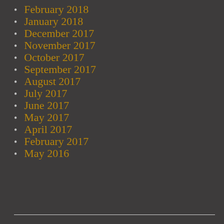February 2018
January 2018
December 2017
November 2017
October 2017
September 2017
August 2017
July 2017
June 2017
May 2017
April 2017
February 2017
May 2016